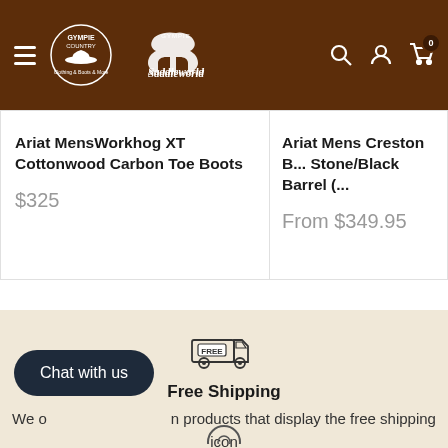Gympie Country Saddleworld Gympie
Ariat MensWorkhog XT Cottonwood Carbon Toe Boots
$325
Ariat Mens Creston B... Stone/Black Barrel (...
From $349.95
[Figure (illustration): Free shipping truck icon with FREE label]
Free Shipping
We offer free shipping on products that display the free shipping icon and all orders over $100.
Chat with us